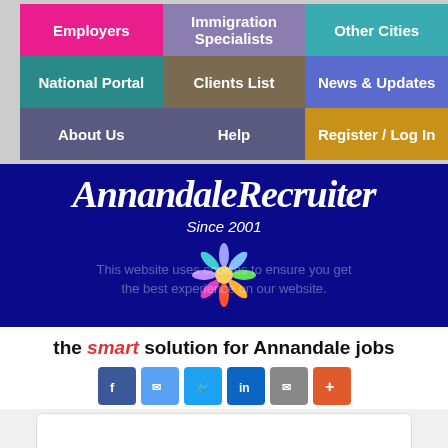[Figure (screenshot): Navigation grid with 9 colored menu buttons: Employers (pink), Immigration Specialists (purple), Other Cities (teal), National Portal (teal), Clients List (brown), News & Updates (blue), About Us (dark purple), Help (dark purple), Register/Log In (gold)]
[Figure (logo): AnnandaleRecruiter branded section with dark blue rounded background, cursive italic white text 'AnnandaleRecruiter', subtitle 'Since 2001', colorful flower/star icon, and cookie notice overlay text]
the smart solution for Annandale jobs
[Figure (infographic): Social sharing buttons: Facebook (blue), Messenger (light blue), Twitter (blue), LinkedIn (dark blue), Email (grey), Plus/More (orange)]
[Figure (screenshot): Search box area and bottom bar with red circle icon]